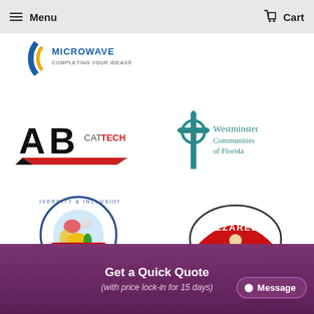Menu   Cart
[Figure (logo): Partial Microwave logo with text 'MICROWAVE COMPLETING YOUR IDEAS']
[Figure (logo): AB CatTech logo with stylized AB letters and red/black chevron]
[Figure (logo): Westminster Communities of Florida logo with Celtic cross]
[Figure (logo): Diversity & Inclusion Breaking Down Barriers circular globe logo]
[Figure (logo): Mozzarella Company logo with red arch and woman figure]
Get a Quick Quote
(with price lock-in for 15 days)